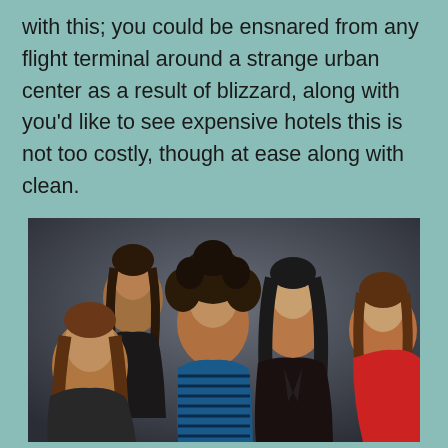with this; you could be ensnared from any flight terminal around a strange urban center as a result of blizzard, along with you'd like to see expensive hotels this is not too costly, though at ease along with clean.
[Figure (photo): Group photo of five people with long hair in 1980s rock band style, posed together against a dark gray background]